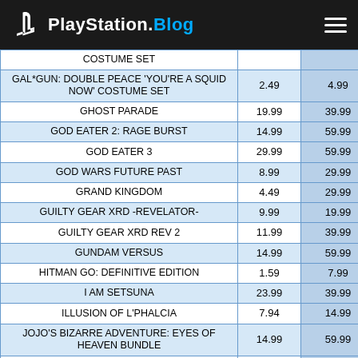PlayStation.Blog
|  |  |  |
| --- | --- | --- |
| COSTUME SET |  |  |
| GAL*GUN: DOUBLE PEACE 'YOU'RE A SQUID NOW' COSTUME SET | 2.49 | 4.99 |
| GHOST PARADE | 19.99 | 39.99 |
| GOD EATER 2: RAGE BURST | 14.99 | 59.99 |
| GOD EATER 3 | 29.99 | 59.99 |
| GOD WARS FUTURE PAST | 8.99 | 29.99 |
| GRAND KINGDOM | 4.49 | 29.99 |
| GUILTY GEAR XRD -REVELATOR- | 9.99 | 19.99 |
| GUILTY GEAR XRD REV 2 | 11.99 | 39.99 |
| GUNDAM VERSUS | 14.99 | 59.99 |
| HITMAN GO: DEFINITIVE EDITION | 1.59 | 7.99 |
| I AM SETSUNA | 23.99 | 39.99 |
| ILLUSION OF L'PHALCIA | 7.94 | 14.99 |
| JOJO'S BIZARRE ADVENTURE: EYES OF HEAVEN BUNDLE | 14.99 | 59.99 |
| JUDGMENT | 29.99 | 59.99 |